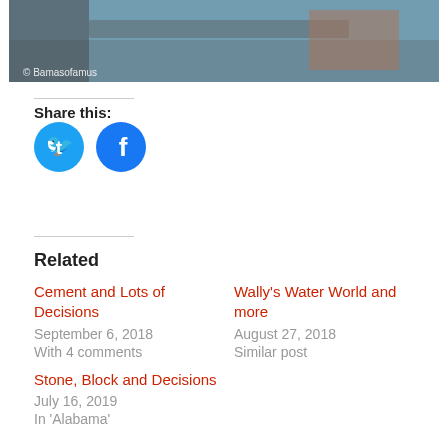[Figure (photo): Partial photo of a construction/plumbing scene with tools and materials on a surface, watermarked with '© Bamasofamus']
Share this:
[Figure (infographic): Twitter and Facebook social share icon buttons as blue circles]
Related
Cement and Lots of Decisions
September 6, 2018
With 4 comments
Wally's Water World and more
August 27, 2018
Similar post
Stone, Block and Decisions
July 16, 2019
In 'Alabama'